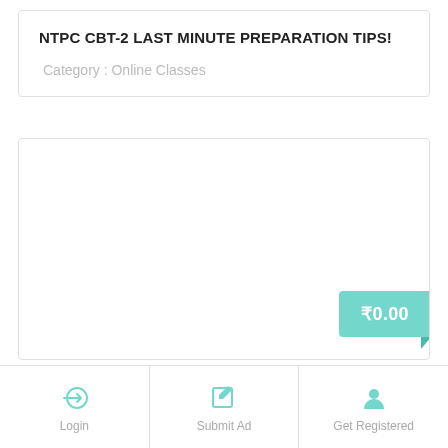NTPC CBT-2 LAST MINUTE PREPARATION TIPS!
Category : Online Classes
[Figure (other): Large white content area card with a teal price badge showing ₹0.00 in the bottom-right corner]
Login
Submit Ad
Get Registered